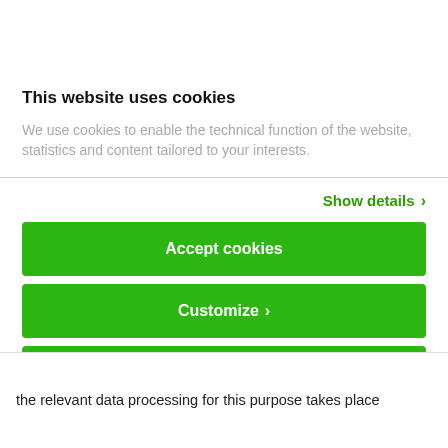This website uses cookies
We use cookies to enable the technical function of the website, statistics and content tailored to your interests.
Show details ›
Accept cookies
Customize ›
Use necessary cookies only
Powered by Cookiebot by Usercentrics
the relevant data processing for this purpose takes place